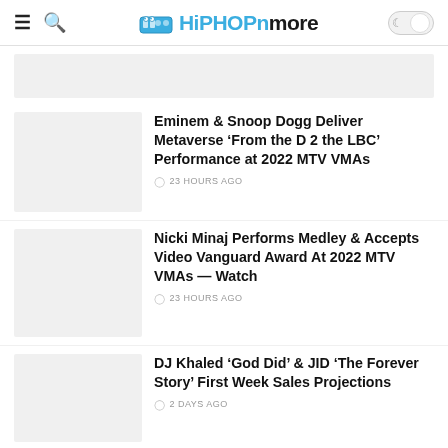HiPHOPnmore
[Figure (other): Partial article thumbnail at top, cropped]
Eminem & Snoop Dogg Deliver Metaverse ‘From the D 2 the LBC’ Performance at 2022 MTV VMAs
23 HOURS AGO
Nicki Minaj Performs Medley & Accepts Video Vanguard Award At 2022 MTV VMAs — Watch
23 HOURS AGO
DJ Khaled ‘God Did’ & JID ‘The Forever Story’ First Week Sales Projections
2 DAYS AGO